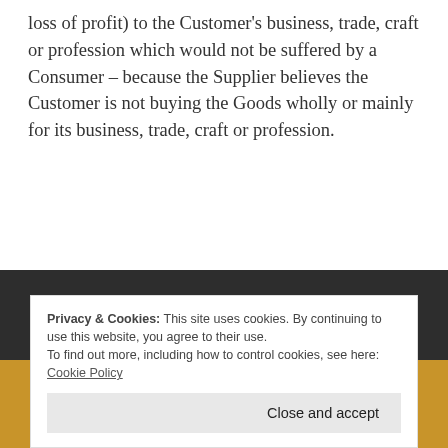loss of profit) to the Customer's business, trade, craft or profession which would not be suffered by a Consumer – because the Supplier believes the Customer is not buying the Goods wholly or mainly for its business, trade, craft or profession.
Privacy & Cookies: This site uses cookies. By continuing to use this website, you agree to their use. To find out more, including how to control cookies, see here: Cookie Policy
Close and accept
vjanegoldsmith@gmail.com